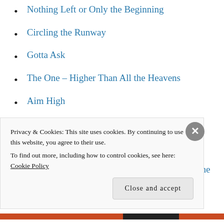Nothing Left or Only the Beginning
Circling the Runway
Gotta Ask
The One – Higher Than All the Heavens
Aim High
Coming to Know Him
A Balanced Life
Clap Your Hands, Shout, and Sing Praises to the Lord
Just In the Nick of Time
Regaining Myself
Privacy & Cookies: This site uses cookies. By continuing to use this website, you agree to their use.
To find out more, including how to control cookies, see here: Cookie Policy
Close and accept